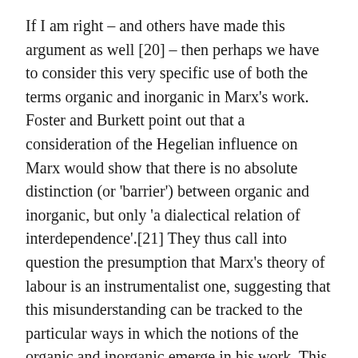If I am right – and others have made this argument as well [20] – then perhaps we have to consider this very specific use of both the terms organic and inorganic in Marx's work. Foster and Burkett point out that a consideration of the Hegelian influence on Marx would show that there is no absolute distinction (or 'barrier') between organic and inorganic, but only 'a dialectical relation of interdependence'.[21] They thus call into question the presumption that Marx's theory of labour is an instrumentalist one, suggesting that this misunderstanding can be tracked to the particular ways in which the notions of the organic and inorganic emerge in his work. This perspective has been amplified by Jason Moore when he refers affirmatively to 'an open conception of life-making, one that views the boundaries of the organic and inorganic as ever-shifting',[22] and later calls for 'a language that